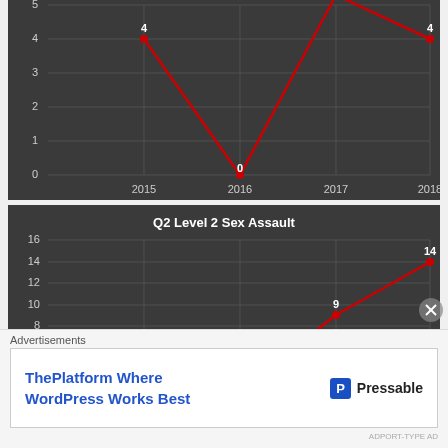[Figure (line-chart): ]
[Figure (line-chart): Q2 Level 2 Sex Assault]
Advertisements
ThePlatform Where WordPress Works Best
[Figure (logo): Pressable logo with P icon]